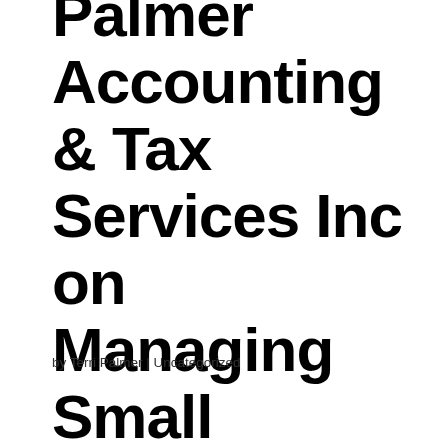Palmer Accounting & Tax Services Inc on Managing Small Business Loan Options
by Terri Palmer | Uncategorized